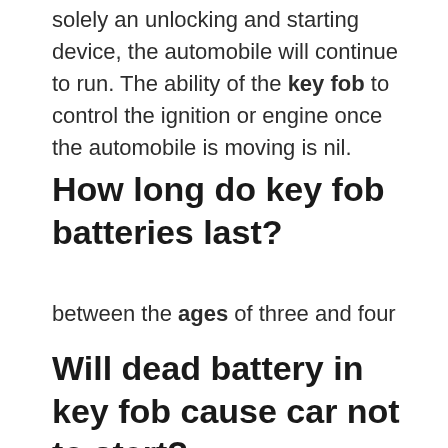solely an unlocking and starting device, the automobile will continue to run. The ability of the key fob to control the ignition or engine once the automobile is moving is nil.
How long do key fob batteries last?
between the ages of three and four
Will dead battery in key fob cause car not to start?
If the battery is one of the...